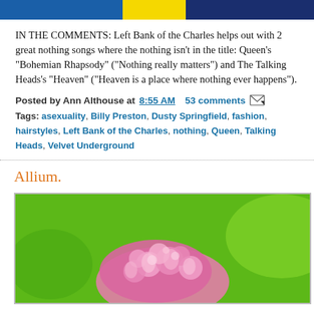[Colored header bar - blue, yellow, dark blue]
IN THE COMMENTS: Left Bank of the Charles helps out with 2 great nothing songs where the nothing isn't in the title: Queen's "Bohemian Rhapsody" ("Nothing really matters") and The Talking Heads's "Heaven" ("Heaven is a place where nothing ever happens").
Posted by Ann Althouse at 8:55 AM  53 comments
Tags: asexuality, Billy Preston, Dusty Springfield, fashion, hairstyles, Left Bank of the Charles, nothing, Queen, Talking Heads, Velvet Underground
Allium.
[Figure (photo): Close-up photo of a pink allium flower with green background]